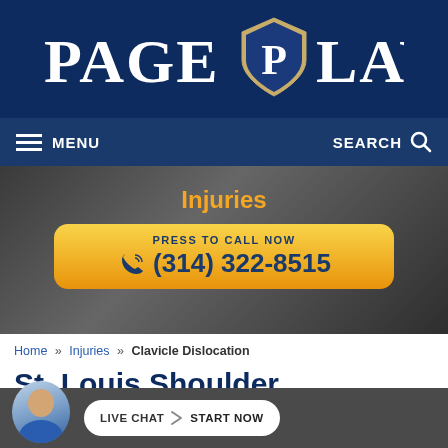[Figure (logo): Page Law logo with shield emblem on dark navy blue header]
MENU   SEARCH
Injuries
PRESS TO CALL NOW (314) 322-8515
Home » Injuries » Clavicle Dislocation
St. Louis Shoulder Injury Lawyers
LIVE CHAT > START NOW